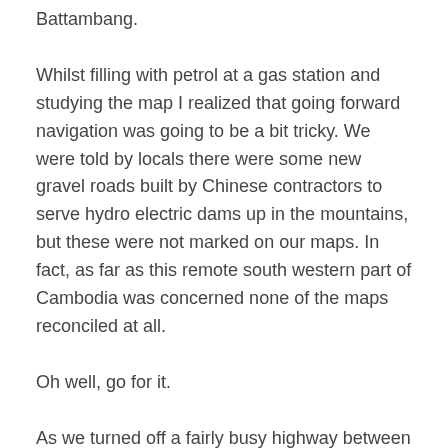Battambang.
Whilst filling with petrol at a gas station and studying the map I realized that going forward navigation was going to be a bit tricky. We were told by locals there were some new gravel roads built by Chinese contractors to serve hydro electric dams up in the mountains, but these were not marked on our maps. In fact, as far as this remote south western part of Cambodia was concerned none of the maps reconciled at all.
Oh well, go for it.
As we turned off a fairly busy highway between Battambang and Posat we still had about five hours of daylight left. Within a few kilometers, the road